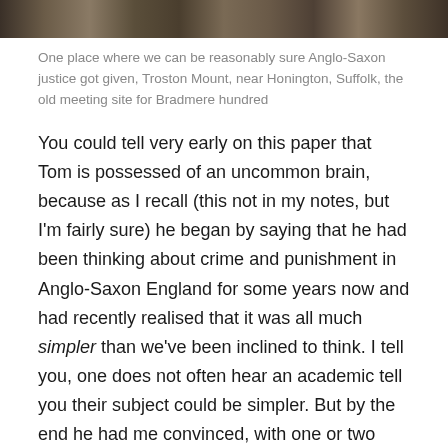[Figure (photo): Dark textured outdoor photo, likely showing Troston Mount near Honington, Suffolk — the old meeting site for Bradmere hundred.]
One place where we can be reasonably sure Anglo-Saxon justice got given, Troston Mount, near Honington, Suffolk, the old meeting site for Bradmere hundred
You could tell very early on this paper that Tom is possessed of an uncommon brain, because as I recall (this not in my notes, but I'm fairly sure) he began by saying that he had been thinking about crime and punishment in Anglo-Saxon England for some years now and had recently realised that it was all much simpler than we've been inclined to think. I tell you, one does not often hear an academic tell you their subject could be simpler. But by the end he had me convinced, with one or two minor reservations. The thing is that, since Patrick Wormald and even before, if you follow thinking on law in Anglo-Saxon England the idea has been that it started